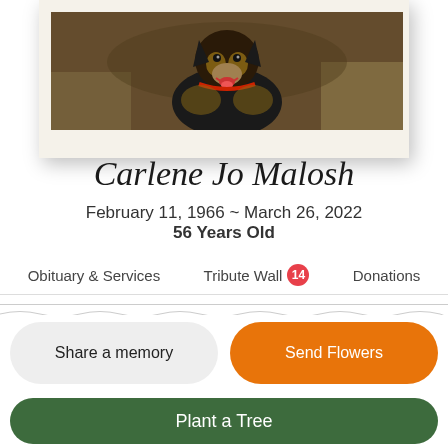[Figure (photo): Photograph of a dog (appears to be a German Shepherd mix with black and tan coloring, wearing a red collar) outdoors. Only upper portion visible, cropped at top of page.]
Carlene Jo Malosh
February 11, 1966 ~ March 26, 2022
56 Years Old
Obituary & Services   Tribute Wall 14   Donations
Share a memory
Send Flowers
Plant a Tree